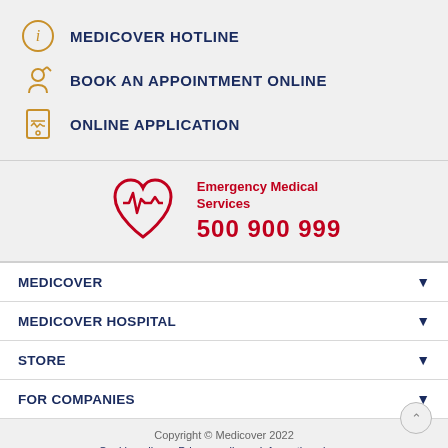MEDICOVER HOTLINE
BOOK AN APPOINTMENT ONLINE
ONLINE APPLICATION
[Figure (illustration): Red heart with ECG/heartbeat line icon for Emergency Medical Services]
Emergency Medical Services
500 900 999
MEDICOVER
MEDICOVER HOSPITAL
STORE
FOR COMPANIES
Copyright © Medicover 2022
Cookie policy   Privacy policy   Information clause